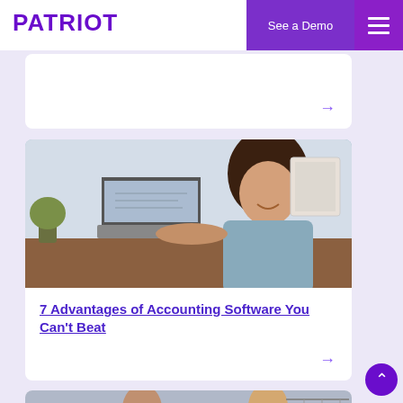PATRIOT
[Figure (screenshot): Top navigation card with arrow, partially visible]
[Figure (photo): Woman smiling while working on a laptop at a desk in an office setting]
7 Advantages of Accounting Software You Can't Beat
[Figure (photo): Two people in a retail store, man in denim shirt and a woman, partially visible at bottom of page]